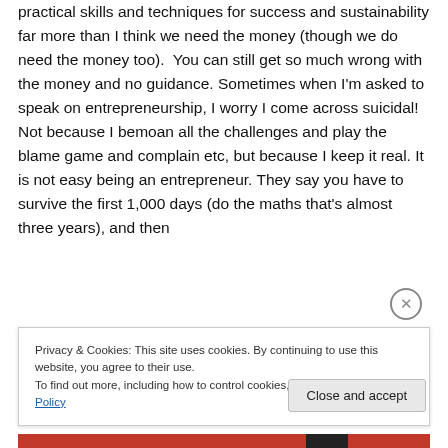practical skills and techniques for success and sustainability far more than I think we need the money (though we do need the money too).  You can still get so much wrong with the money and no guidance. Sometimes when I'm asked to speak on entrepreneurship, I worry I come across suicidal! Not because I bemoan all the challenges and play the blame game and complain etc, but because I keep it real. It is not easy being an entrepreneur. They say you have to survive the first 1,000 days (do the maths that's almost three years), and then
Privacy & Cookies: This site uses cookies. By continuing to use this website, you agree to their use.
To find out more, including how to control cookies, see here: Cookie Policy